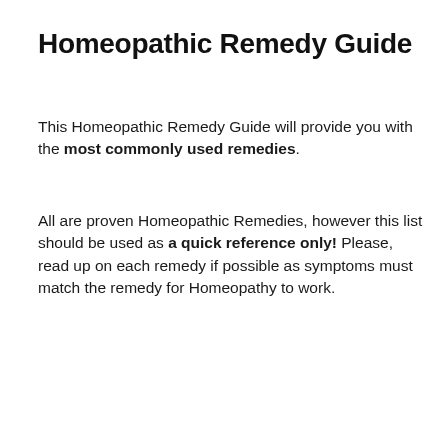Homeopathic Remedy Guide
This Homeopathic Remedy Guide will provide you with the most commonly used remedies.
All are proven Homeopathic Remedies, however this list should be used as a quick reference only! Please, read up on each remedy if possible as symptoms must match the remedy for Homeopathy to work.